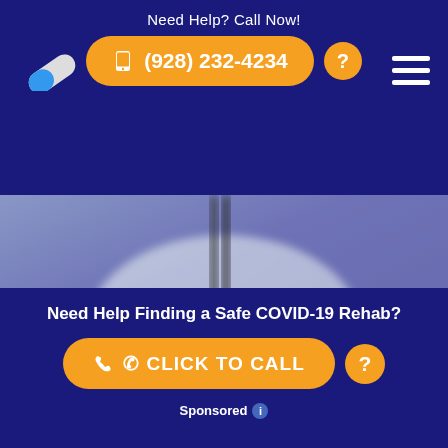Need Help? Call Now!
(928) 232-4234
[Figure (photo): Blurred photo of a doctor or medical professional in a white coat holding a stethoscope, with a blue-purple color overlay]
Need Help Finding a Safe COVID-19 Rehab?
CLICK TO CALL
Sponsored